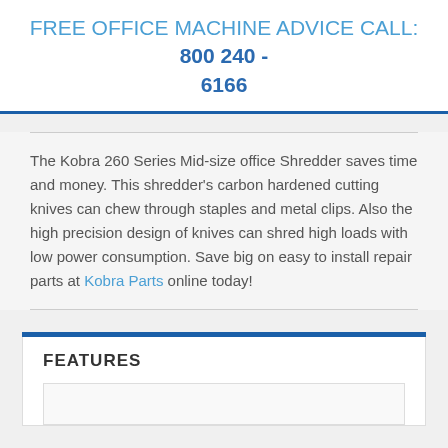FREE OFFICE MACHINE ADVICE CALL: 800 240 - 6166
The Kobra 260 Series Mid-size office Shredder saves time and money. This shredder's carbon hardened cutting knives can chew through staples and metal clips. Also the high precision design of knives can shred high loads with low power consumption. Save big on easy to install repair parts at Kobra Parts online today!
FEATURES